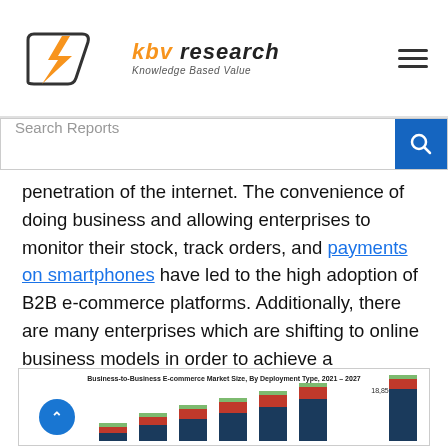KBV Research - Knowledge Based Value
penetration of the internet. The convenience of doing business and allowing enterprises to monitor their stock, track orders, and payments on smartphones have led to the high adoption of B2B e-commerce platforms. Additionally, there are many enterprises which are shifting to online business models in order to achieve a competitive edge in the market due to the rising competition.
[Figure (bar-chart): Stacked bar chart showing B2B e-commerce market size by deployment type from 2021 to 2027, with the highest value labeled 18,857.3 Bn]